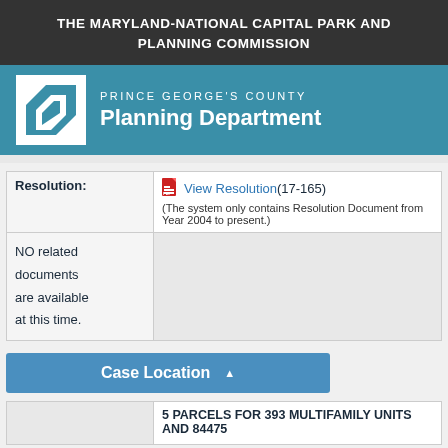THE MARYLAND-NATIONAL CAPITAL PARK AND PLANNING COMMISSION
[Figure (logo): Prince George's County Planning Department logo with white geometric shape on teal background]
PRINCE GEORGE'S COUNTY Planning Department
| Resolution: | View Resolution (17-165)
(The system only contains Resolution Document from Year 2004 to present.) |
| --- | --- |
| NO related documents are available at this time. |  |
Case Location
|  | 5 PARCELS FOR 393 MULTIFAMILY UNITS AND 84475 |
| --- | --- |